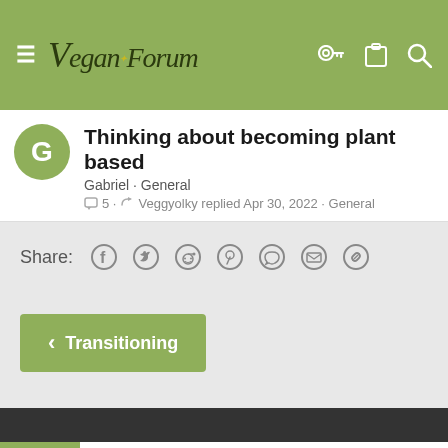Vegan Forum
Thinking about becoming plant based
Gabriel · General
5 · Veggyolky replied Apr 30, 2022 · General
Share: [Facebook] [Twitter] [Reddit] [Pinterest] [WhatsApp] [Email] [Link]
< Transitioning
This site uses cookies to help personalise content, tailor your experience and to keep you logged in if you register. By continuing to use this site, you are consenting to our use of cookies.
ACCEPT   LEARN MORE...